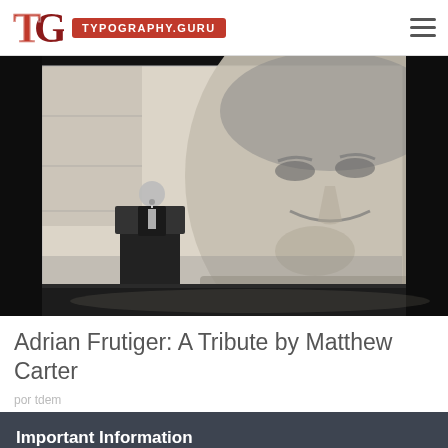TYPOGRAPHY.GURU
[Figure (photo): A speaker at a podium on stage, with a large projected black-and-white photograph of an older man smiling, hand on chin, displayed on screen behind them. Dark auditorium setting.]
Adrian Frutiger: A Tribute by Matthew Carter
Important Information
This website uses functional cookies.
✔ Got it!